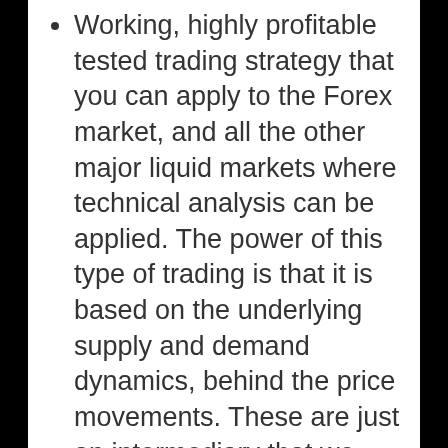Working, highly profitable tested trading strategy that you can apply to the Forex market, and all the other major liquid markets where technical analysis can be applied. The power of this type of trading is that it is based on the underlying supply and demand dynamics, behind the price movements. These are just an intermediary that we interpret to find what we are really interested in: where are the buying and selling orders situated in the market.
Perhaps the most important